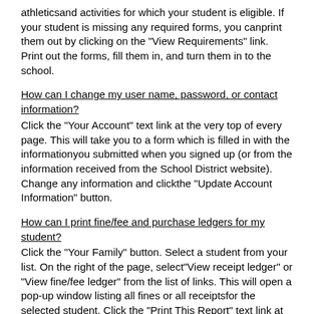athleticsand activities for which your student is eligible. If your student is missing any required forms, you canprint them out by clicking on the "View Requirements" link. Print out the forms, fill them in, and turn them in to the school.
How can I change my user name, password, or contact information?
Click the "Your Account" text link at the very top of every page. This will take you to a form which is filled in with the informationyou submitted when you signed up (or from the information received from the School District website). Change any information and clickthe "Update Account Information" button.
How can I print fine/fee and purchase ledgers for my student?
Click the "Your Family" button. Select a student from your list. On the right of the page, select"View receipt ledger" or "View fine/fee ledger" from the list of links. This will open a pop-up window listing all fines or all receiptsfor the selected student. Click the "Print This Report" text link at the top to print out the fine/fee or receipt ledger.